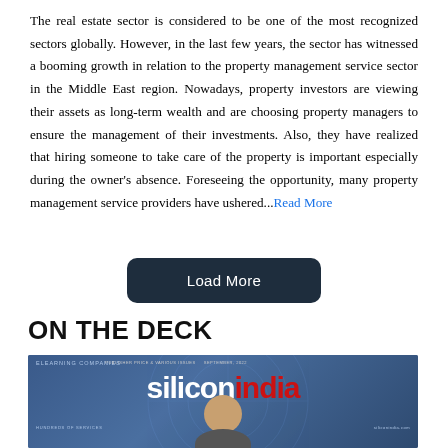The real estate sector is considered to be one of the most recognized sectors globally. However, in the last few years, the sector has witnessed a booming growth in relation to the property management service sector in the Middle East region. Nowadays, property investors are viewing their assets as long-term wealth and are choosing property managers to ensure the management of their investments. Also, they have realized that hiring someone to take care of the property is important especially during the owner's absence. Foreseeing the opportunity, many property management service providers have ushered...Read More
Load More
ON THE DECK
[Figure (photo): Silicon India magazine cover showing the siliconindia logo in white and red text on a blue background with a person visible at the bottom]